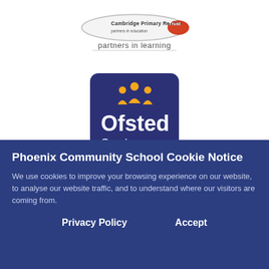[Figure (logo): Cambridge Primary Review Trust logo — an oval badge with text 'Cambridge Primary Review Trust' and tagline 'partners in learning' below]
[Figure (logo): Ofsted Good Provider badge — dark navy rounded rectangle with orange star figures, white text 'Ofsted' and 'Good Provider']
Copyright © 2022 Phoenix Community Primary School. All
Phoenix Community School Cookie Notice
We use cookies to improve your browsing experience on our website, to analyse our website traffic, and to understand where our visitors are coming from.
Privacy Policy    Accept